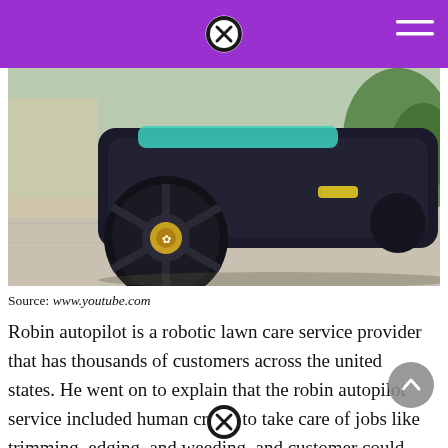[Figure (photo): Close-up photo of a robotic lawn mower on a pavement surface, showing a large black wheel with a yellow hub logo. The mower is dark colored, viewed from a low angle. Green garden/trees visible in background.]
Source: www.youtube.com
Robin autopilot is a robotic lawn care service provider that has thousands of customers across the united states. He went on to explain that the robin autopilot service included human crews to take care of jobs like trimming, edging, and weeding, and customer could elect which services they wanted with three different weekly package